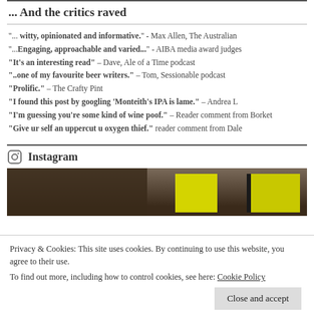... And the critics raved
"... witty, opinionated and informative." - Max Allen, The Australian
"...Engaging, approachable and varied..." - AIBA media award judges
"It's an interesting read" – Dave, Ale of a Time podcast
"..one of my favourite beer writers." – Tom, Sessionable podcast
"Prolific." – The Crafty Pint
"I found this post by googling 'Monteith's IPA is lame." – Andrea L
"I'm guessing you're some kind of wine poof." – Reader comment from Borket
"Give ur self an uppercut u oxygen thief." reader comment from Dale
Instagram
[Figure (photo): Photo strip showing yellow cups/mugs on a dark background]
Privacy & Cookies: This site uses cookies. By continuing to use this website, you agree to their use. To find out more, including how to control cookies, see here: Cookie Policy